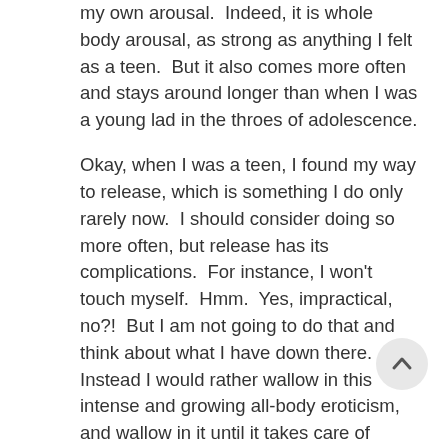my own arousal.  Indeed, it is whole body arousal, as strong as anything I felt as a teen.  But it also comes more often and stays around longer than when I was a young lad in the throes of adolescence.
Okay, when I was a teen, I found my way to release, which is something I do only rarely now.  I should consider doing so more often, but release has its complications.  For instance, I won't touch myself.  Hmm.  Yes, impractical, no?!  But I am not going to do that and think about what I have down there.  Instead I would rather wallow in this intense and growing all-body eroticism, and wallow in it until it takes care of itself.
I would describe myself as someone with a very high sex drive.  Just because I don't rollick with my S.O. [written about here], and have never been super-sexual